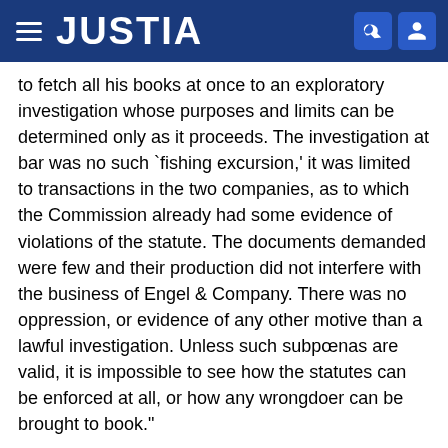JUSTIA
to fetch all his books at once to an exploratory investigation whose purposes and limits can be determined only as it proceeds. The investigation at bar was no such `fishing excursion,' it was limited to transactions in the two companies, as to which the Commission already had some evidence of violations of the statute. The documents demanded were few and their production did not interfere with the business of Engel & Company. There was no oppression, or evidence of any other motive than a lawful investigation. Unless such subpœnas are valid, it is impossible to see how the statutes can be enforced at all, or how any wrongdoer can be brought to book."
It has been argued by counsel for respondent that the cases in which it has been held that the legislature may require records to be kept and submitted to